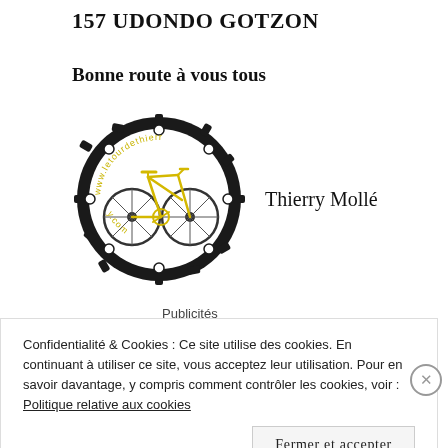157 UDONDO GOTZON
Bonne route à vous tous
[Figure (logo): Circular bicycle gear logo with yellow road bike, text 'www.letourdethierry.com' around the edge. Next to it: author name 'Thierry Mollé']
Publicités
[Figure (photo): Blue-green gradient advertisement banner]
Confidentialité & Cookies : Ce site utilise des cookies. En continuant à utiliser ce site, vous acceptez leur utilisation. Pour en savoir davantage, y compris comment contrôler les cookies, voir : Politique relative aux cookies
Fermer et accepter